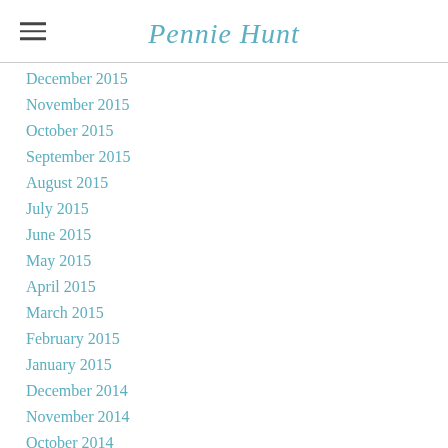Pennie Hunt
December 2015
November 2015
October 2015
September 2015
August 2015
July 2015
June 2015
May 2015
April 2015
March 2015
February 2015
January 2015
December 2014
November 2014
October 2014
September 2014
August 2014